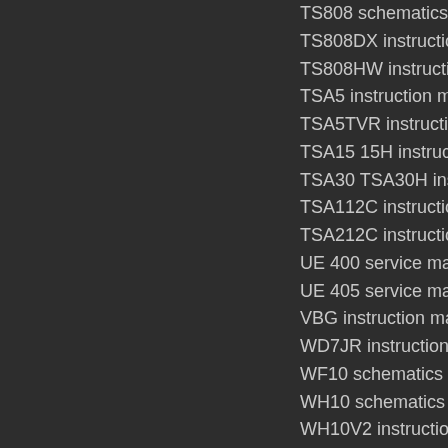TS808 schematics
TS808DX instruction manual
TS808HW instruction manual
TSA5 instruction manual
TSA5TVR instruction manual
TSA15 15H instruction manual
TSA30 TSA30H instruction
TSA112C instruction manual
TSA212C instruction manual
UE 400 service manual (low
UE 405 service manual (low
VBG instruction manual
WD7JR instruction manual
WF10 schematics
WH10 schematics
WH10V2 instruction manual
WT80 instruction manual
IBANEZ CATA
1950 Star Musical Merchan
1960 Ibanez catalog
1961 Electric Guitars catalo
1962 Superior Electric Guit